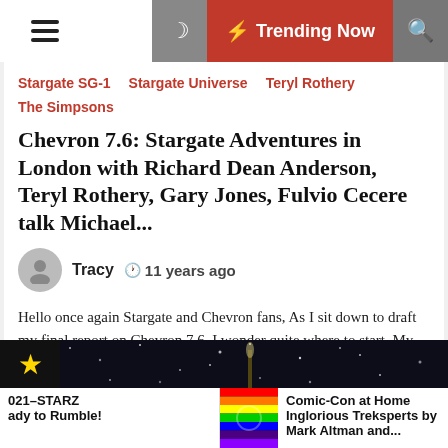≡  🌙  ⚡ Trending Now  🔍
Stargate SG-1
Stargate Universe
Teryl Rothery
The Simpsons
Chevron 7.6: Stargate Adventures in London with Richard Dean Anderson, Teryl Rothery, Gary Jones, Fulvio Cecere talk Michael...
Tracy  🕐 11 years ago
Hello once again Stargate and Chevron fans, As I sit down to draft my final report on Chevron 7.6, I wonder quite where to start. My head is a boiling pot of recollections images and flashbacks. My stomach churns remembering the nervous trepidation which precedes the arrival of a guest. [...]
[Figure (screenshot): Bottom strip showing dark background with star-like dots and a golden star icon on the left, rainbow vertical bar in the middle, and text teasers below]
021-STARZ ady to Rumble!
Comic-Con at Home Inglorious Treksperts by Mark Altman and...